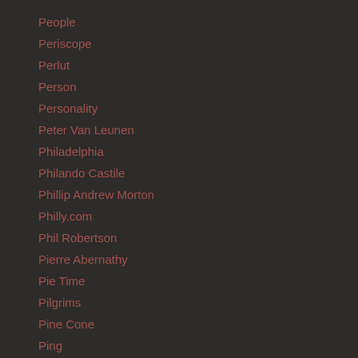People
Periscope
Perlut
Person
Personality
Peter Van Leunen
Philadelphia
Philando Castile
Phillip Andrew Morton
Philly.com
Phil Robertson
Pierre Abernathy
Pie Time
Pilgrims
Pine Cone
Ping
Pink
Piper
Pitfire
Pizza